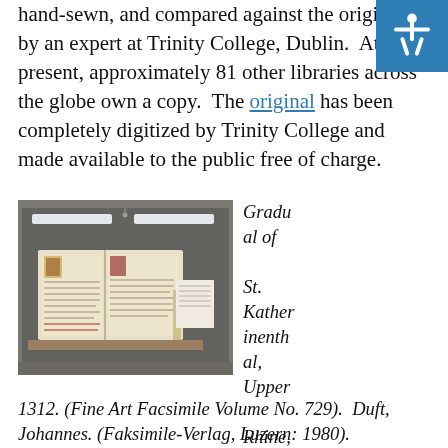hand-sewn, and compared against the original by an expert at Trinity College, Dublin. At present, approximately 81 other libraries across the globe own a copy. The original has been completely digitized by Trinity College and made available to the public free of charge.
[Figure (photo): Photograph of an open illuminated medieval manuscript displayed in a glass exhibition case under fluorescent lighting. The manuscript shows decorative initials and handwritten text on both open pages.]
Gradual of St. Katherinenthal, Upper Rhine, 1312. (Fine Art Facsimile Volume No. 729). Duft, Johannes. (Faksimile-Verlag, Luzern: 1980).